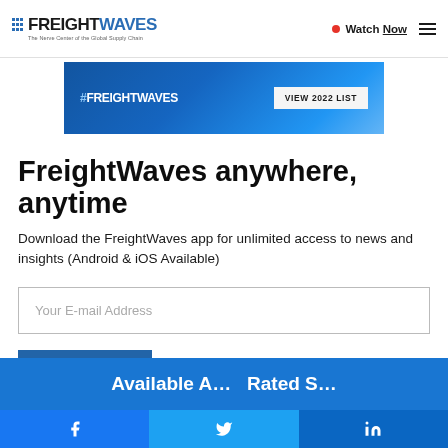FreightWaves — The Nerve Center of the Global Supply Chain | Watch Now | Navigation Menu
[Figure (screenshot): FreightWaves banner ad with blue gradient background showing #FREIGHTWAVES logo and VIEW 2022 LIST button]
FreightWaves anywhere, anytime
Download the FreightWaves app for unlimited access to news and insights (Android & iOS Available)
Your E-mail Address
Get the App
[Figure (screenshot): Partially visible blue panel at the bottom of the page]
Facebook share | Twitter share | LinkedIn share